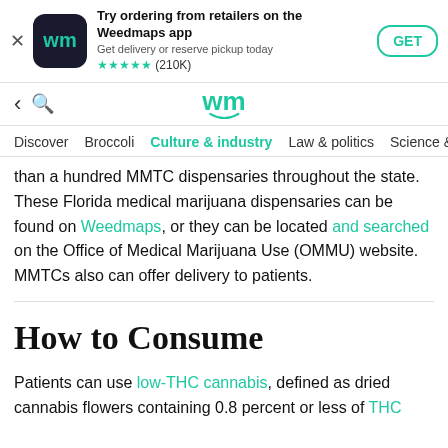[Figure (screenshot): Weedmaps app banner advertisement with app icon, title 'Try ordering from retailers on the Weedmaps app', subtitle 'Get delivery or reserve pickup today', 5-star rating (210K reviews), and a GET button]
[Figure (screenshot): Weedmaps website navigation bar with back arrow, search icon, and teal wm logo with smile]
Discover  Broccoli  Culture & industry  Law & politics  Science &
than a hundred MMTC dispensaries throughout the state. These Florida medical marijuana dispensaries can be found on Weedmaps, or they can be located and searched on the Office of Medical Marijuana Use (OMMU) website. MMTCs also can offer delivery to patients.
How to Consume
Patients can use low-THC cannabis, defined as dried cannabis flowers containing 0.8 percent or less of THC